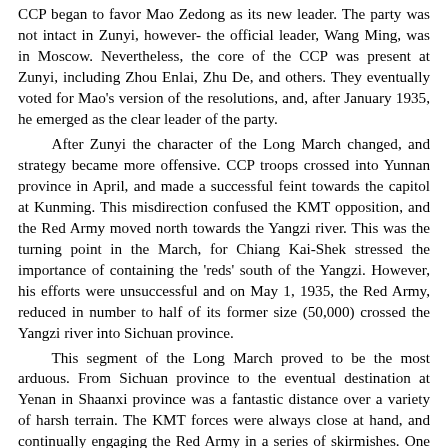CCP began to favor Mao Zedong as its new leader. The party was not intact in Zunyi, however- the official leader, Wang Ming, was in Moscow. Nevertheless, the core of the CCP was present at Zunyi, including Zhou Enlai, Zhu De, and others. They eventually voted for Mao's version of the resolutions, and, after January 1935, he emerged as the clear leader of the party.
	After Zunyi the character of the Long March changed, and strategy became more offensive. CCP troops crossed into Yunnan province in April, and made a successful feint towards the capitol at Kunming. This misdirection confused the KMT opposition, and the Red Army moved north towards the Yangzi river. This was the turning point in the March, for Chiang Kai-Shek stressed the importance of containing the 'reds' south of the Yangzi. However, his efforts were unsuccessful and on May 1, 1935, the Red Army, reduced in number to half of its former size (50,000) crossed the Yangzi river into Sichuan province.
	This segment of the Long March proved to be the most arduous. From Sichuan province to the eventual destination at Yenan in Shaanxi province was a fantastic distance over a variety of harsh terrain. The KMT forces were always close at hand, and continually engaging the Red Army in a series of skirmishes. One particular incident in Sichuan province would determine the entire fate of the CCP forces. Chiang Kai-Shek and the Guomindang army had removed the planks from the bridge over the Litung River. The almost impossible crossing over the "Bridge of Iron Chains" (Wilson 162) left the KMT baffled and the CCP forces